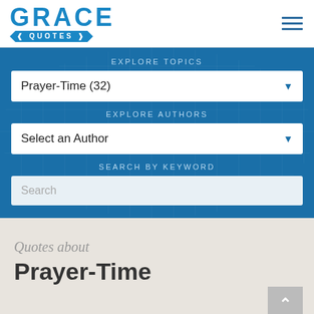[Figure (logo): Grace Quotes logo with GRACE in large blue letters and QUOTES on a blue ribbon banner]
EXPLORE TOPICS
Prayer-Time (32)
EXPLORE AUTHORS
Select an Author
SEARCH BY KEYWORD
Search
Quotes about
Prayer-Time